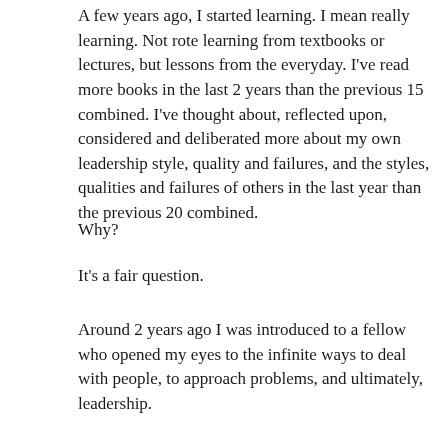A few years ago, I started learning. I mean really learning. Not rote learning from textbooks or lectures, but lessons from the everyday. I've read more books in the last 2 years than the previous 15 combined. I've thought about, reflected upon, considered and deliberated more about my own leadership style, quality and failures, and the styles, qualities and failures of others in the last year than the previous 20 combined.
Why?
It's a fair question.
Around 2 years ago I was introduced to a fellow who opened my eyes to the infinite ways to deal with people, to approach problems, and ultimately, leadership.